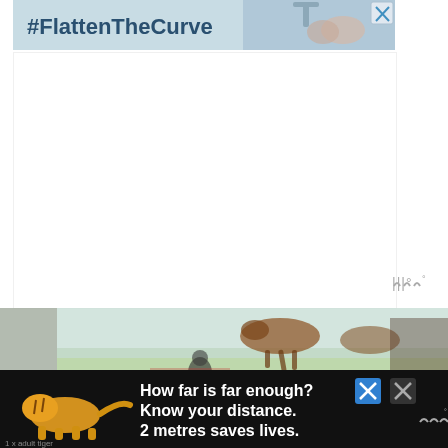[Figure (screenshot): #FlattenTheCurve advertisement banner with person washing hands at sink, with blue-gray background and close X button in top right]
[Figure (screenshot): White empty content area with watermark logo (three vertical wavy lines with degree symbol) in lower right corner]
[Figure (photo): Faded scenic photo showing horses running in a green field with a person in the scene]
[Figure (screenshot): Black advertisement banner: tiger illustration on left, text 'How far is far enough? Know your distance. 2 metres saves lives.' with '1 x adult tiger' label, close X button and watermark logo on right]